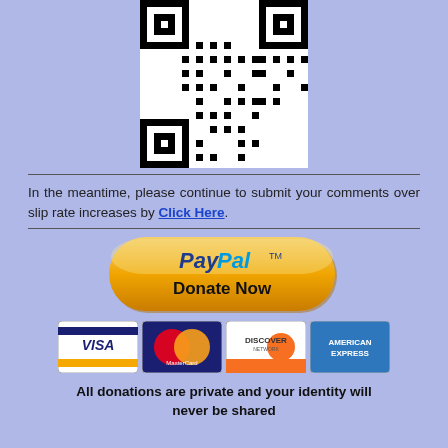[Figure (other): QR code image centered at top of page]
In the meantime, please continue to submit your comments over slip rate increases by Click Here.
[Figure (logo): PayPal Donate Now button with Visa, MasterCard, Discover, American Express card logos below]
All donations are private and your identity will never be shared